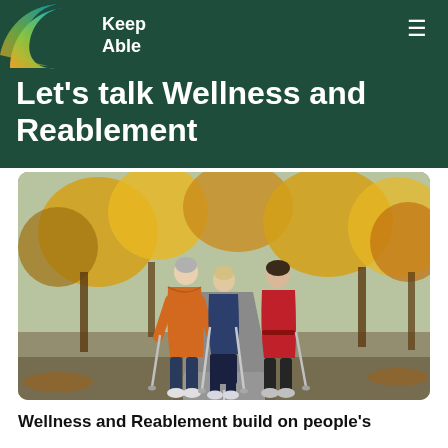[Figure (logo): Keep Able logo with colourful swirl on dark green header background]
Let's talk Wellness and Reablement
[Figure (photo): Three elderly women walking away from camera on a tree-lined avenue in autumn, using walking poles/sticks, wearing colourful winter jackets (orange, navy, red)]
Wellness and Reablement build on people's